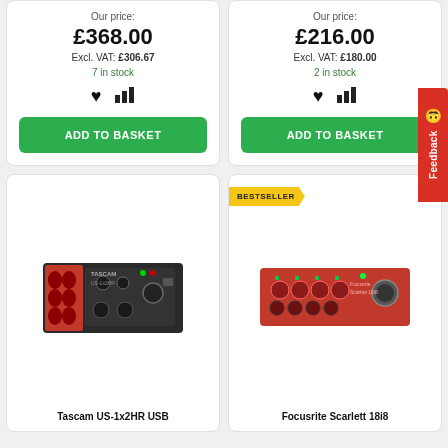Our price: £368.00 Excl. VAT: £306.67 7 in stock ADD TO BASKET
Our price: £216.00 Excl. VAT: £180.00 2 in stock ADD TO BASKET
[Figure (photo): Tascam US-1x2HR USB audio interface with red honeycomb side panels and black body]
Tascam US-1x2HR USB
[Figure (photo): Focusrite Scarlett 18i8 audio interface in red with multiple XLR inputs and gain knobs, with BESTSELLER badge]
Focusrite Scarlett 18i8